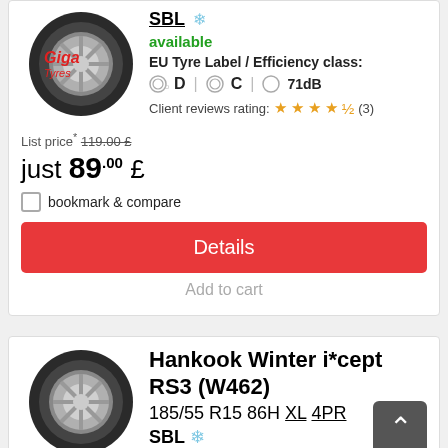[Figure (photo): Tyre image with Giga Tyres logo overlay]
SBL ❄ available
EU Tyre Label / Efficiency class:
D | C | 71dB
Client reviews rating: ★★★★½ (3)
List price* 119.00 £
just 89.00 £
bookmark & compare
Details
Add to cart
[Figure (photo): Hankook Winter tyre image]
Hankook Winter i*cept RS3 (W462) 185/55 R15 86H XL 4PR SBL ❄